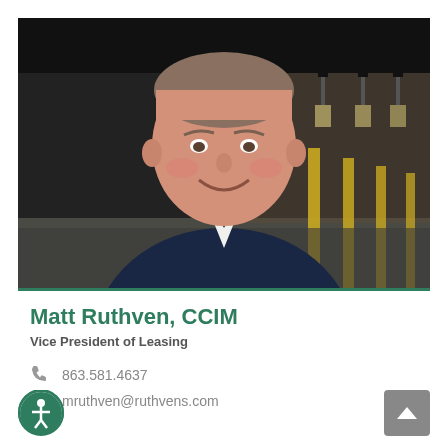[Figure (photo): Professional headshot of Matt Ruthven, a middle-aged man in a dark navy blazer and white shirt, smiling, standing in a large warehouse interior with yellow pillars and overhead lights in the background.]
Matt Ruthven, CCIM
Vice President of Leasing
863.581.4637
mruthven@ruthvens.com